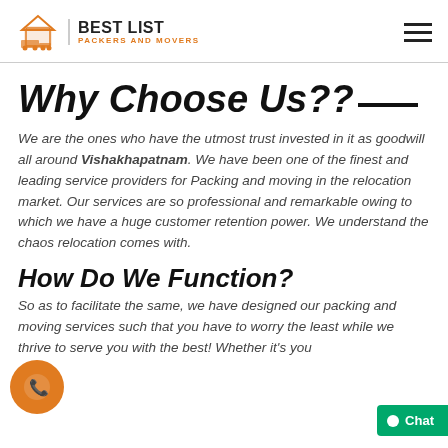BEST LIST PACKERS AND MOVERS
Why Choose Us??
We are the ones who have the utmost trust invested in it as goodwill all around Vishakhapatnam. We have been one of the finest and leading service providers for Packing and moving in the relocation market. Our services are so professional and remarkable owing to which we have a huge customer retention power. We understand the chaos relocation comes with.
How Do We Function?
So as to facilitate the same, we have designed our packing and moving services such that you have to worry the least while we thrive to serve you with the best! Whether it's your vehicle…